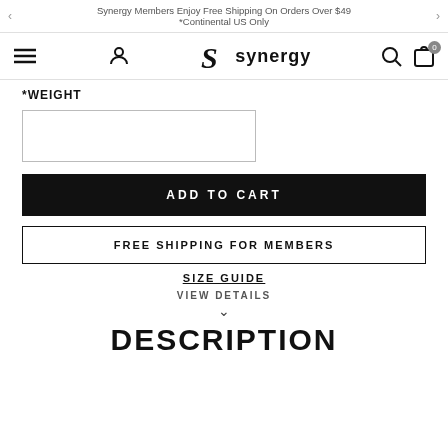Synergy Members Enjoy Free Shipping On Orders Over $49 *Continental US Only
[Figure (logo): Synergy brand logo with stylized S and the word synergy]
*WEIGHT
(empty weight input box)
ADD TO CART
FREE SHIPPING FOR MEMBERS
SIZE GUIDE
VIEW DETAILS
DESCRIPTION